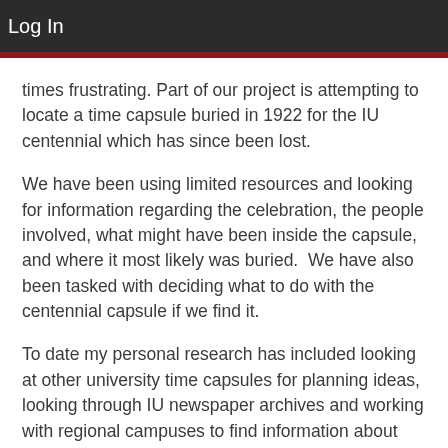Log In
times frustrating. Part of our project is attempting to locate a time capsule buried in 1922 for the IU centennial which has since been lost.
We have been using limited resources and looking for information regarding the celebration, the people involved, what might have been inside the capsule, and where it most likely was buried.  We have also been tasked with deciding what to do with the centennial capsule if we find it.
To date my personal research has included looking at other university time capsules for planning ideas, looking through IU newspaper archives and working with regional campuses to find information about past capsules.